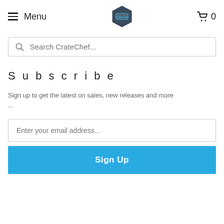Menu | CrateChef logo | 0
Search CrateChef...
Subscribe
Sign up to get the latest on sales, new releases and more ...
Enter your email address...
Sign Up